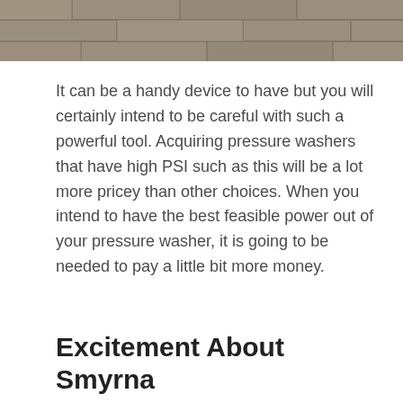[Figure (photo): Top portion of a stone or concrete paver surface, showing a textured grey pavement with joints between slabs, cropped at the bottom of the image strip.]
It can be a handy device to have but you will certainly intend to be careful with such a powerful tool. Acquiring pressure washers that have high PSI such as this will be a lot more pricey than other choices. When you intend to have the best feasible power out of your pressure washer, it is going to be needed to pay a little bit more money.
Excitement About Smyrna